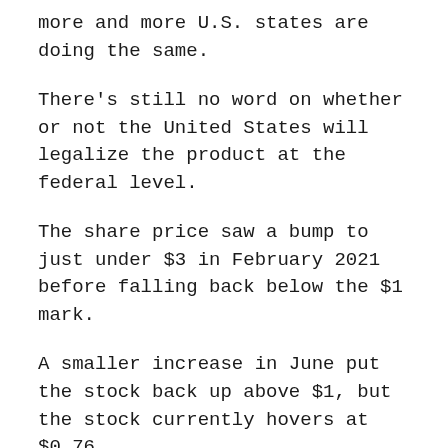more and more U.S. states are doing the same.
There's still no word on whether or not the United States will legalize the product at the federal level.
The share price saw a bump to just under $3 in February 2021 before falling back below the $1 mark.
A smaller increase in June put the stock back up above $1, but the stock currently hovers at $0.76.
The company had another bump in November, but to a lesser extent this time.
Sundial is a true penny stock, which causes